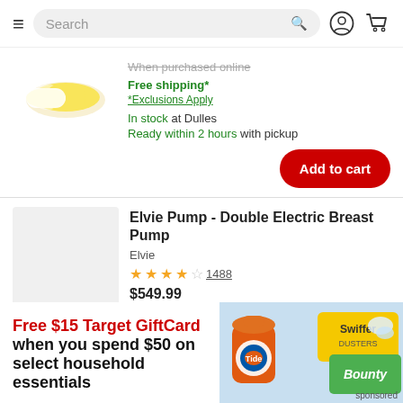Search
When purchased online
Free shipping*
*Exclusions Apply
In stock at Dulles
Ready within 2 hours with pickup
Add to cart
Elvie Pump - Double Electric Breast Pump
Elvie
1488 reviews
$549.99
[Figure (infographic): Free $15 Target GiftCard when you spend $50 on select household essentials — promotional banner with Tide, Swiffer Dusters, and Bounty products]
sponsored